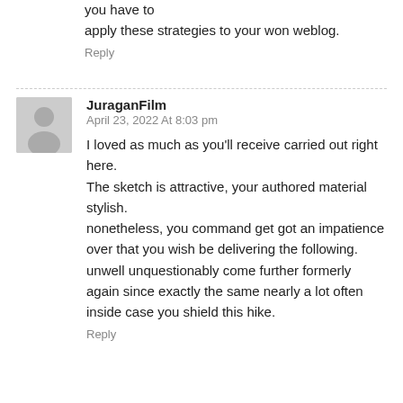you have to apply these strategies to your won weblog.
Reply
JuraganFilm
April 23, 2022 At 8:03 pm
I loved as much as you'll receive carried out right here.
The sketch is attractive, your authored material stylish.
nonetheless, you command get got an impatience over that you wish be delivering the following.
unwell unquestionably come further formerly again since exactly the same nearly a lot often inside case you shield this hike.
Reply